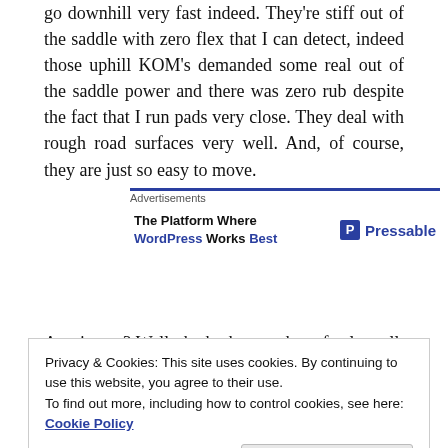go downhill very fast indeed. They're stiff out of the saddle with zero flex that I can detect, indeed those uphill KOM's demanded some real out of the saddle power and there was zero rub despite the fact that I run pads very close. They deal with rough road surfaces very well. And, of course, they are just so easy to move.
[Figure (other): Advertisement banner for Pressable: 'The Platform Where WordPress Works Best' with blue Pressable logo and P icon]
Any issues? Well, the brakes work perfectly well. Once
Privacy & Cookies: This site uses cookies. By continuing to use this website, you agree to their use.
To find out more, including how to control cookies, see here: Cookie Policy
bonus to get you going but I'd probably invest in some